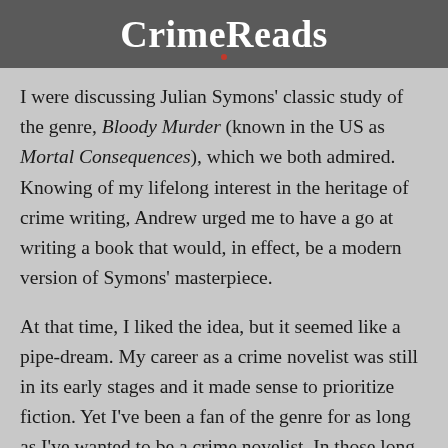CrimeReads
I were discussing Julian Symons' classic study of the genre, Bloody Murder (known in the US as Mortal Consequences), which we both admired. Knowing of my lifelong interest in the heritage of crime writing, Andrew urged me to have a go at writing a book that would, in effect, be a modern version of Symons' masterpiece.
At that time, I liked the idea, but it seemed like a pipe-dream. My career as a crime novelist was still in its early stages and it made sense to prioritize fiction. Yet I've been a fan of the genre for as long as I've wanted to be a crime novelist. In those long ago days, I kept a